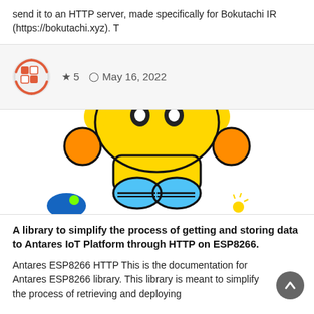send it to an HTTP server, made specifically for Bokutachi IR (https://bokutachi.xyz). T
★ 5  ⊙ May 16, 2022
[Figure (illustration): Cartoon robot character illustration — yellow robot head and torso with orange arms and blue lower body/feet, partially cropped]
A library to simplify the process of getting and storing data to Antares IoT Platform through HTTP on ESP8266.
Antares ESP8266 HTTP This is the documentation for Antares ESP8266 library. This library is meant to simplify the process of retrieving and deploying